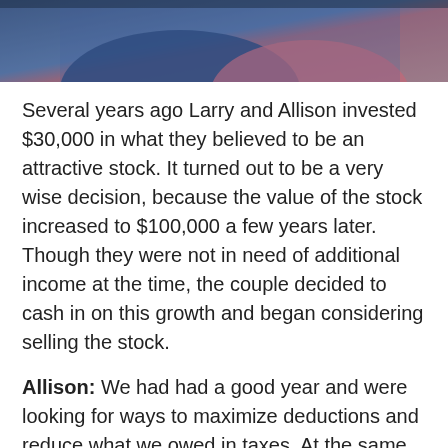[Figure (photo): Partial photo of two people, cropped at top of page, showing upper body area with blue and pink clothing.]
Several years ago Larry and Allison invested $30,000 in what they believed to be an attractive stock. It turned out to be a very wise decision, because the value of the stock increased to $100,000 a few years later. Though they were not in need of additional income at the time, the couple decided to cash in on this growth and began considering selling the stock.
Allison: We had had a good year and were looking for ways to maximize deductions and reduce what we owed in taxes. At the same time, we had been exploring the best way to make a gift to our favorite charity.